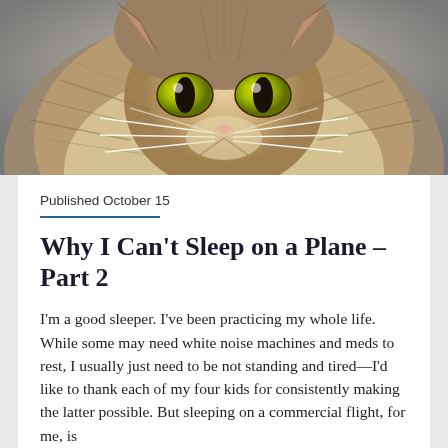[Figure (photo): Close-up photograph of a fluffy long-haired cat (Norwegian Forest Cat or similar) facing the camera directly, showing its face with green/yellow eyes, pink nose, and prominent whiskers against a grey background.]
Published October 15
Why I Can't Sleep on a Plane – Part 2
I'm a good sleeper. I've been practicing my whole life. While some may need white noise machines and meds to rest, I usually just need to be not standing and tired—I'd like to thank each of my four kids for consistently making the latter possible. But sleeping on a commercial flight, for me, is